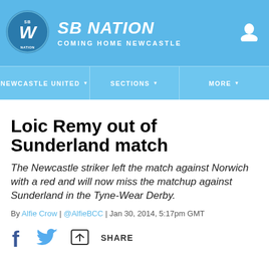SBNATION — COMING HOME NEWCASTLE
Loic Remy out of Sunderland match
The Newcastle striker left the match against Norwich with a red and will now miss the matchup against Sunderland in the Tyne-Wear Derby.
By Alfie Crow | @AlfieBCC | Jan 30, 2014, 5:17pm GMT